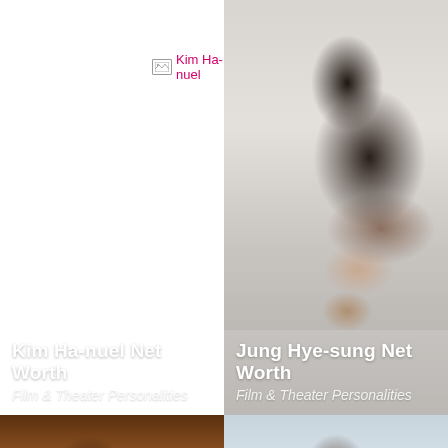[Figure (photo): Broken image placeholder for Kim Ha-nuel with pink text label]
[Figure (photo): Portrait photo of Jung Hye-sung, Korean actress with dark hair wearing grey top]
Kim Ha-nuel Net Worth
Film & Theater Personalities
Jung Hye-sung Net Worth
Film & Theater Personalities
[Figure (photo): Photo of woman with dark hair against warm dark background with tiger logo visible]
[Figure (photo): Photo of woman with brown hair against light blue/grey background with 'CR' text visible]